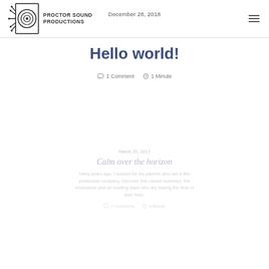Proctor Sound Productions
December 28, 2018
Hello world!
1 Comment  1 Minute
March 25, 2017
Calm over the horizon
Many years ago, I worked for my parents who ran a film production company. Discover this classic business, the employees and an exciting team who are having the time of their lives.
2 Comments  6 Minute